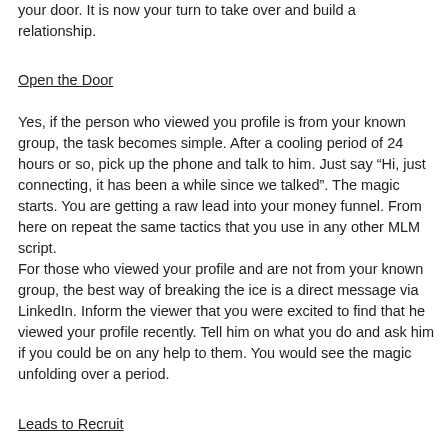your door. It is now your turn to take over and build a relationship.
Open the Door
Yes, if the person who viewed you profile is from your known group, the task becomes simple. After a cooling period of 24 hours or so, pick up the phone and talk to him. Just say “Hi, just connecting, it has been a while since we talked”. The magic starts. You are getting a raw lead into your money funnel. From here on repeat the same tactics that you use in any other MLM script.
For those who viewed your profile and are not from your known group, the best way of breaking the ice is a direct message via LinkedIn. Inform the viewer that you were excited to find that he viewed your profile recently. Tell him on what you do and ask him if you could be on any help to them. You would see the magic unfolding over a period.
Leads to Recruit